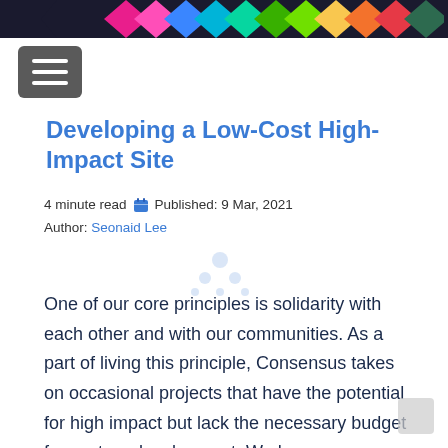[Figure (illustration): Top navigation banner with dark background and colorful diamond/chevron shapes on the right, and a partial arrow on the left]
[Figure (illustration): Hamburger menu icon (three horizontal white lines on grey rounded rectangle background)]
Developing a Low-Cost High-Impact Site
4 minute read 📅 Published: 9 Mar, 2021
Author: Seonaid Lee
One of our core principles is solidarity with each other and with our communities. As a part of living this principle, Consensus takes on occasional projects that have the potential for high impact but lack the necessary budget for custom development. We have some standard templates for such projects, so we can spin